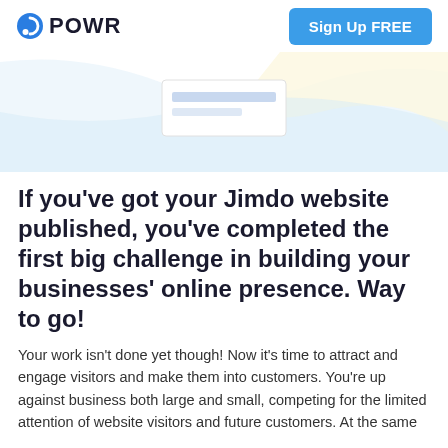POWR | Sign Up FREE
[Figure (illustration): Hero banner with light blue and light yellow gradient wave shapes, with a partial screenshot of a form widget in the center]
If you’ve got your Jimdo website published, you’ve completed the first big challenge in building your businesses’ online presence. Way to go!
Your work isn't done yet though! Now it's time to attract and engage visitors and make them into customers. You’re up against business both large and small, competing for the limited attention of website visitors and future customers. At the same